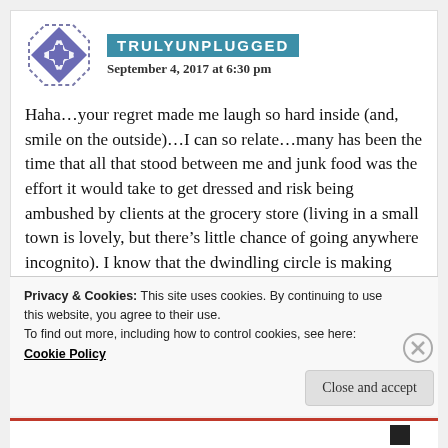[Figure (logo): TRULYUNPLUGGED blog logo: diamond/star shape in purple/blue with white cross pattern, inside a dashed octagonal border]
TRULYUNPLUGGED
September 4, 2017 at 6:30 pm
Haha...your regret made me laugh so hard inside (and, smile on the outside)...I can so relate...many has been the time that all that stood between me and junk food was the effort it would take to get dressed and risk being ambushed by clients at the grocery store (living in a small town is lovely, but there's little chance of going anywhere incognito). I know that the dwindling circle is making room
Privacy & Cookies: This site uses cookies. By continuing to use this website, you agree to their use.
To find out more, including how to control cookies, see here: Cookie Policy
Close and accept